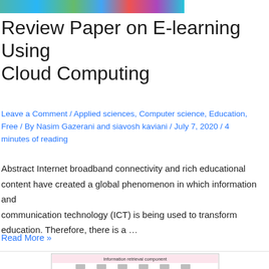[Figure (illustration): Colorful banner image with icons related to e-learning and cloud computing (partial view, top of page)]
Review Paper on E-learning Using Cloud Computing
Leave a Comment / Applied sciences, Computer science, Education, Free / By Nasim Gazerani and siavosh kaviani / July 7, 2020 / 4 minutes of reading
Abstract Internet broadband connectivity and rich educational content have created a global phenomenon in which information and communication technology (ICT) is being used to transform education. Therefore, there is a …
Read More »
[Figure (screenshot): Partial screenshot showing a diagram labeled 'Information retrieval component' at the bottom of the page]